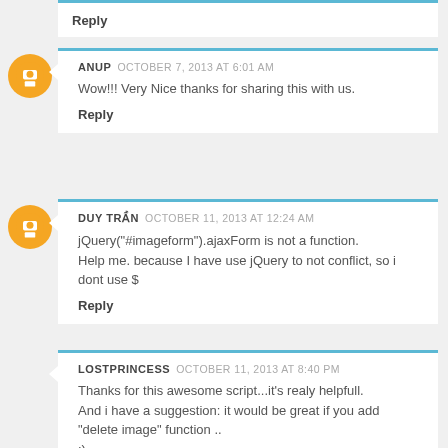Reply
ANUP  OCTOBER 7, 2013 AT 6:01 AM
Wow!!! Very Nice thanks for sharing this with us.
Reply
DUY TRẦN  OCTOBER 11, 2013 AT 12:24 AM
jQuery("#imageform").ajaxForm is not a function. Help me. because I have use jQuery to not conflict, so i dont use $
Reply
LOSTPRINCESS  OCTOBER 11, 2013 AT 8:40 PM
Thanks for this awesome script...it's realy helpfull. And i have a suggestion: it would be great if you add "delete image" function .. :) Thank you very much